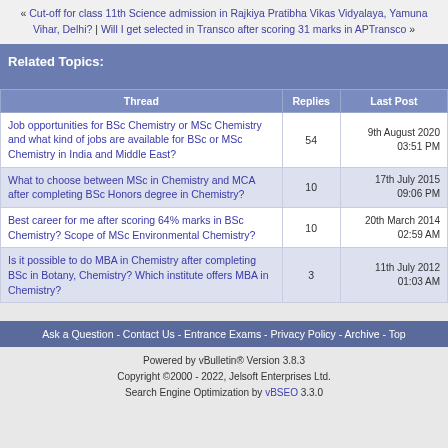« Cut-off for class 11th Science admission in Rajkiya Pratibha Vikas Vidyalaya, Yamuna Vihar, Delhi? | Will I get selected in Transco after scoring 31 marks in APTransco »
Related Topics:
| Thread | Replies | Last Post |
| --- | --- | --- |
| Job opportunities for BSc Chemistry or MSc Chemistry and what kind of jobs are available for BSc or MSc Chemistry in India and Middle East? | 54 | 9th August 2020 03:51 PM |
| What to choose between MSc in Chemistry and MCA after completing BSc Honors degree in Chemistry? | 10 | 17th July 2015 09:06 PM |
| Best career for me after scoring 64% marks in BSc Chemistry? Scope of MSc Environmental Chemistry? | 10 | 20th March 2014 02:59 AM |
| Is it possible to do MBA in Chemistry after completing BSc in Botany, Chemistry? Which institute offers MBA in Chemistry? | 3 | 11th July 2012 01:03 AM |
Ask a Question - Contact Us - Entrance Exams - Privacy Policy - Archive - Top
Powered by vBulletin® Version 3.8.3
Copyright ©2000 - 2022, Jelsoft Enterprises Ltd.
Search Engine Optimization by vBSEO 3.3.0